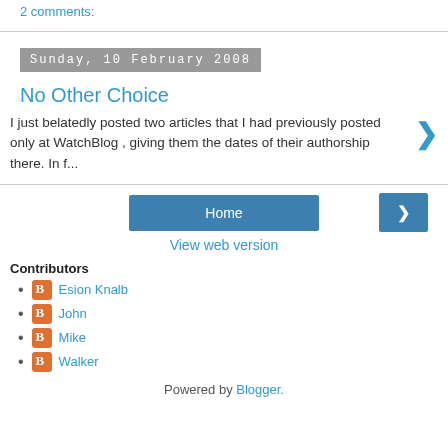2 comments:
Sunday, 10 February 2008
No Other Choice
I just belatedly posted two articles that I had previously posted only at WatchBlog , giving them the dates of their authorship there. In f...
Home
View web version
Contributors
Esion Knalb
John
Mike
Walker
Powered by Blogger.